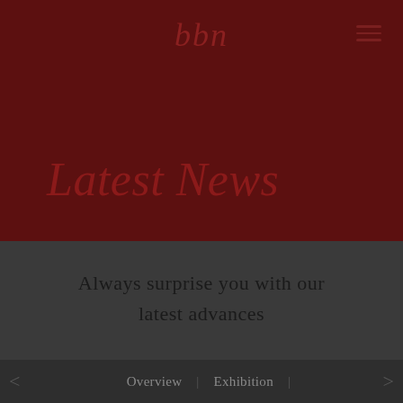[Figure (screenshot): Website header with dark red background and a faint silhouette of a person, featuring the 'bbn' logo in the top center and a hamburger menu icon in the top right.]
Latest News
Always surprise you with our latest advances
< Overview | Exhibition |  >